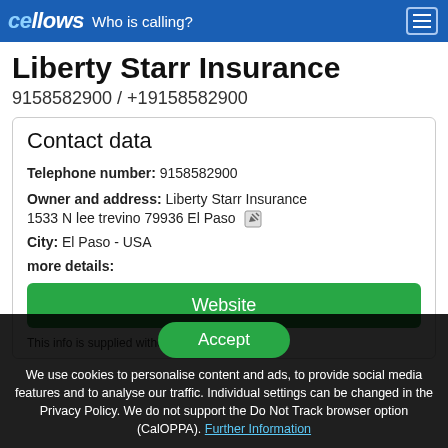cellows – Who is calling?
Liberty Starr Insurance
9158582900 / +19158582900
Contact data
Telephone number: 9158582900
Owner and address: Liberty Starr Insurance 1533 N lee trevino 79936 El Paso
City: El Paso - USA
more details:
Website
This info is supplied without liability.
Accept
We use cookies to personalise content and ads, to provide social media features and to analyse our traffic. Individual settings can be changed in the Privacy Policy. We do not support the Do Not Track browser option (CalOPPA). Further Information